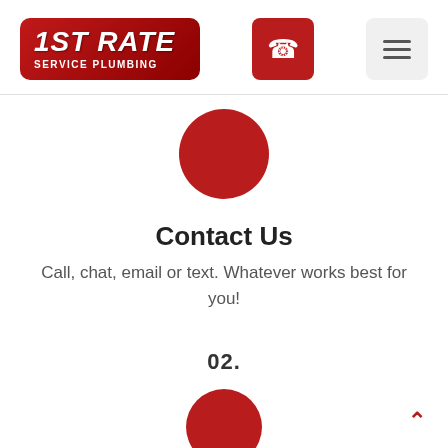[Figure (logo): 1ST RATE SERVICE PLUMBING logo — red rounded rectangle with bold white italic text '1ST RATE' and subtitle 'SERVICE PLUMBING']
[Figure (other): Red phone icon button (rounded square)]
[Figure (other): Hamburger menu icon (three horizontal lines) on light grey rounded square background]
[Figure (other): Red circle icon partially visible at top of section]
Contact Us
Call, chat, email or text. Whatever works best for you!
02.
[Figure (other): Red circle icon partially visible at bottom of page]